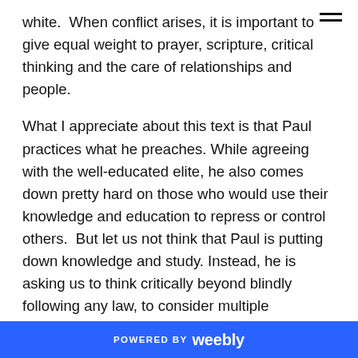white.  When conflict arises, it is important to give equal weight to prayer, scripture, critical thinking and the care of relationships and people.
What I appreciate about this text is that Paul practices what he preaches. While agreeing with the well-educated elite, he also comes down pretty hard on those who would use their knowledge and education to repress or control others.  But let us not think that Paul is putting down knowledge and study. Instead, he is asking us to think critically beyond blindly following any law, to consider multiple perspectives, and not to run
POWERED BY weebly